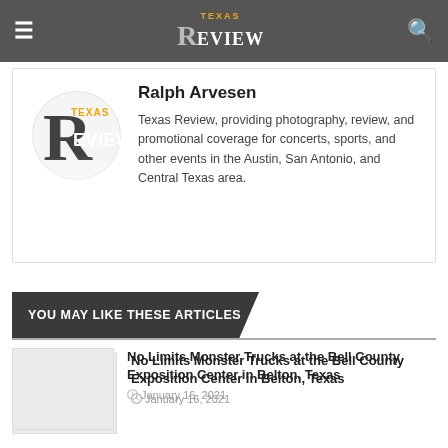Texas Review
Ralph Arvesen
Texas Review, providing photography, review, and promotional coverage for concerts, sports, and other events in the Austin, San Antonio, and Central Texas area.
YOU MAY LIKE THESE ARTICLES
No Limits Monster Trucks at the Bell County Exposition Center in Belton, Texas
January 16, 2021
Golden Dawn Arkestra performing at Love & Lightstream in Cedar Park, Texas
November 15, 2020
Lion Babe performing at Love and Lightstream